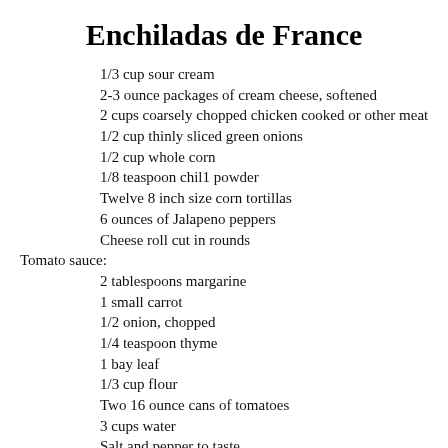Enchiladas de France
1/3 cup sour cream
2-3 ounce packages of cream cheese, softened
2 cups coarsely chopped chicken cooked or other meat
1/2 cup thinly sliced green onions
1/2 cup whole corn
1/8 teaspoon chil1 powder
Twelve 8 inch size corn tortillas
6 ounces of Jalapeno peppers
Cheese roll cut in rounds
Tomato sauce:
2 tablespoons margarine
1 small carrot
1/2 onion, chopped
1/4 teaspoon thyme
1 bay leaf
1/3 cup flour
Two 16 ounce cans of tomatoes
3 cups water
Salt and pepper to taste
2 teaspoons sugar
2 cloves of garlic, minced